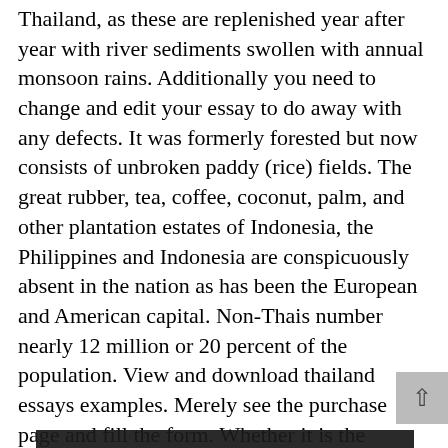Thailand, as these are replenished year after year with river sediments swollen with annual monsoon rains. Additionally you need to change and edit your essay to do away with any defects. It was formerly forested but now consists of unbroken paddy (rice) fields. The great rubber, tea, coffee, coconut, palm, and other plantation estates of Indonesia, the Philippines and Indonesia are conspicuously absent in the nation as has been the European and American capital. Non-Thais number nearly 12 million or 20 percent of the population. View and download thailand essays examples. Merely see the purchase page and fill the form. Whether it is the Songkran Festival or the first cool breeze of the winter season, there is always something to make you smile, laugh, cry or get excited about.

It produces nearly one-sixth of the world's production of hardwoods—particularly teak. Chuan Leekpai, Unemployment, Monetary policy 838 Words | Thailand Dairy Industry Information Center (TDIIC). km)
Questo sito si serve dei cookie di Google per l'erogazione dei servizi, la personalizzazione degli annunci e l'analisi del traffico. Le informazioni sul tuo utilizzo del sito sono condivise con Google. Se prosegui la navigazione acconsenti all'utilizzo dei cookie. più info
Accetto